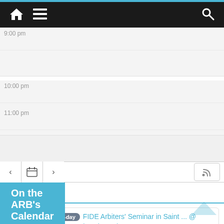[Figure (screenshot): Mobile app navigation bar with home icon, hamburger menu, and search icon on dark background]
9:00 pm
10:00 pm
11:00 pm
[Figure (screenshot): Calendar navigation toolbar with back arrow, calendar icon, forward arrow, and RSS feed button]
On the ARB's Calendar
all-day FIDE Arbiters' Seminar in Saint ... @ Saint Louis, Missouri, USA
AUG 31 Wed
all-day 120th Internet Based FIDE Arbite... @ Online
SEP 2